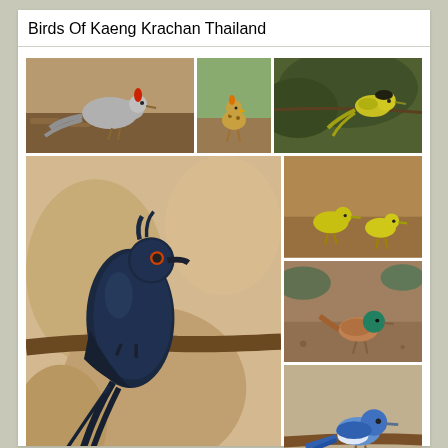Birds Of Kaeng Krachan Thailand
[Figure (photo): Grey bird with red crest foraging on forest ground]
[Figure (photo): Small spotted chick standing on forest floor]
[Figure (photo): Yellow-green bird perched on a rope or wire in forest]
[Figure (photo): Large dark blue-black bird with long ribbon tail perched on branch]
[Figure (photo): Two yellow birds on ground]
[Figure (photo): Small green-headed bird on ground]
[Figure (photo): Small blue bird perched on branch]